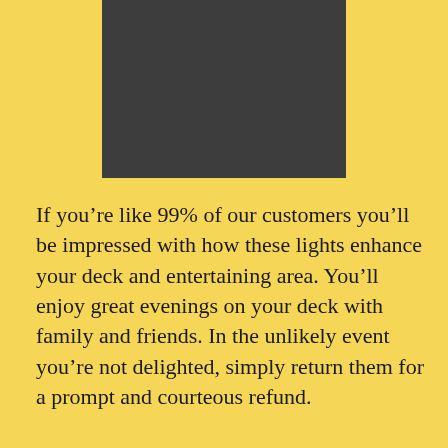[Figure (other): Dark gray/charcoal rectangular block at the top center of the page, likely a product image placeholder]
If you’re like 99% of our customers you’ll be impressed with how these lights enhance your deck and entertaining area. You’ll enjoy great evenings on your deck with family and friends. In the unlikely event you’re not delighted, simply return them for a prompt and courteous refund.